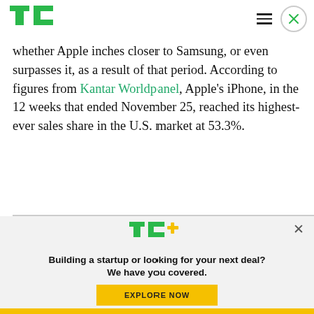TechCrunch navigation header with TC logo, hamburger menu, and close button
whether Apple inches closer to Samsung, or even surpasses it, as a result of that period. According to figures from Kantar Worldpanel, Apple's iPhone, in the 12 weeks that ended November 25, reached its highest-ever sales share in the U.S. market at 53.3%.
[Figure (other): TC+ promotional banner with TC+ logo, headline 'Building a startup or looking for your next deal? We have you covered.' and an EXPLORE NOW button]
Building a startup or looking for your next deal? We have you covered.